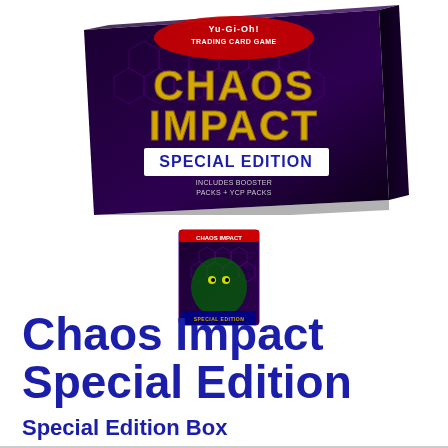[Figure (photo): Yu-Gi-Oh! Chaos Impact Special Edition box product photo, showing the large special edition box with black and purple design, Yu-Gi-Oh! Trading Card Game logo at top, 'CHAOS IMPACT' in large gold letters, 'SPECIAL EDITION' below it, displayed at an angle]
[Figure (photo): Small Yu-Gi-Oh! Chaos Impact Special Edition deck box/pack with purple and green artwork featuring a monster character, small square product image]
Chaos Impact Special Edition
Special Edition Box